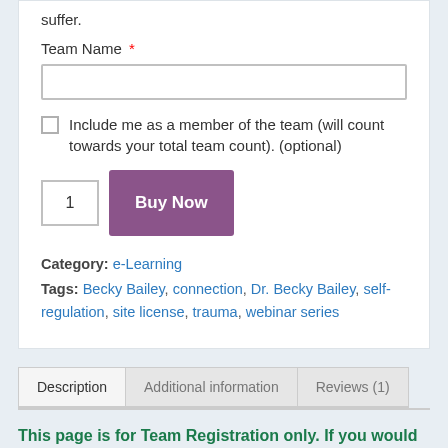suffer.
Team Name *
Include me as a member of the team (will count towards your total team count). (optional)
1  Buy Now
Category: e-Learning
Tags: Becky Bailey, connection, Dr. Becky Bailey, self-regulation, site license, trauma, webinar series
Description | Additional information | Reviews (1)
This page is for Team Registration only. If you would like to register as an individual, please complete an